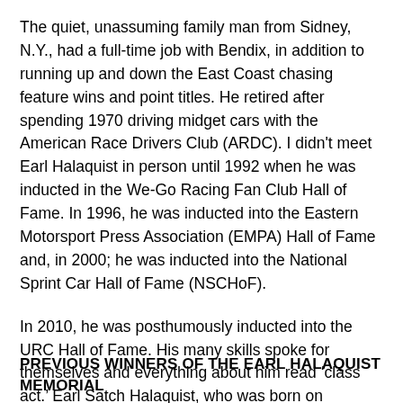The quiet, unassuming family man from Sidney, N.Y., had a full-time job with Bendix, in addition to running up and down the East Coast chasing feature wins and point titles. He retired after spending 1970 driving midget cars with the American Race Drivers Club (ARDC). I didn't meet Earl Halaquist in person until 1992 when he was inducted in the We-Go Racing Fan Club Hall of Fame. In 1996, he was inducted into the Eastern Motorsport Press Association (EMPA) Hall of Fame and, in 2000; he was inducted into the National Sprint Car Hall of Fame (NSCHoF).
In 2010, he was posthumously inducted into the URC Hall of Fame. His many skills spoke for themselves and everything about him read ‘class act.’ Earl Satch Halaquist, who was born on September 7, 1925, in Rock Rift, N.Y., died on January 12, 2001, at the age of seventy-five. Great driver, great man. Nothing else needs to be said!
PREVIOUS WINNERS OF THE EARL HALAQUIST MEMORIAL